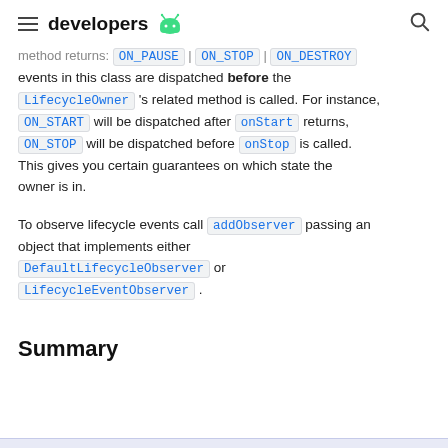developers
method returns: ON_PAUSE | ON_STOP | ON_DESTROY events in this class are dispatched before the LifecycleOwner 's related method is called. For instance, ON_START will be dispatched after onStart returns, ON_STOP will be dispatched before onStop is called. This gives you certain guarantees on which state the owner is in.
To observe lifecycle events call addObserver passing an object that implements either DefaultLifecycleObserver or LifecycleEventObserver.
Summary